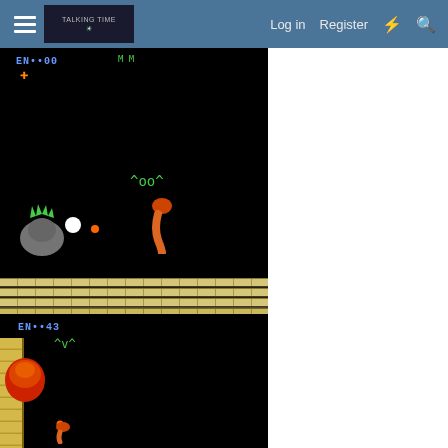Log in   Register
[Figure (screenshot): Retro video game screenshot (top) showing a side-scrolling game with black background, EN..00 HUD display, platform tiles at bottom, enemy creatures, and player character sprite]
[Figure (screenshot): Retro video game screenshot (bottom) showing the same game with EN..43 HUD display, side column tiles, red/orange large enemy, green enemy creature, and player character sprite]